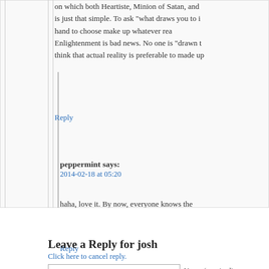on which both Heartiste, Minion of Satan, and is just that simple. To ask 'what draws you to i hand to choose make up whatever rea Enlightenment is bad news. No one is "drawn t think that actual reality is preferable to made up
Reply
peppermint says:
2014-02-18 at 05:20
haha, love it. By now, everyone knows the and redemption; so we are here to sprea Father and sin.
Reply
Leave a Reply for josh
Click here to cancel reply.
Name (required)